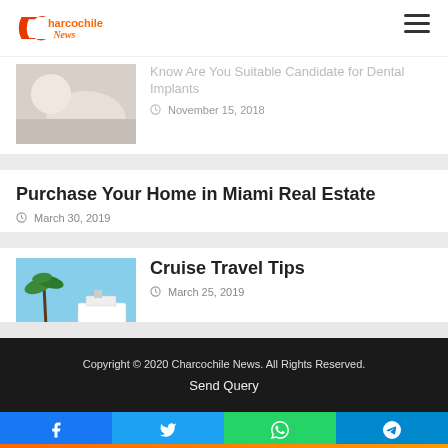Charcochile News
Know Are You Suitable Candidate for Dental Implants
November 15, 2018
Purchase Your Home in Miami Real Estate
March 30, 2019
[Figure (photo): Couple sitting on beach with cruise ship in background, palm tree visible]
Cruise Travel Tips
March 25, 2019
Copyright © 2020 Charcochile News. All Rights Reserved.
Send Query